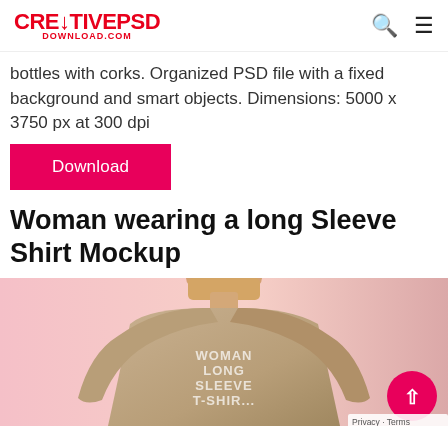CRETIVEPSD DOWNLOAD.COM
bottles with corks. Organized PSD file with a fixed background and smart objects. Dimensions: 5000 x 3750 px at 300 dpi
Download
Woman wearing a long Sleeve Shirt Mockup
[Figure (photo): Woman wearing a long sleeve beige t-shirt mockup on a pink background. The shirt displays text: WOMAN LONG SLEEVE T-SHIRT]